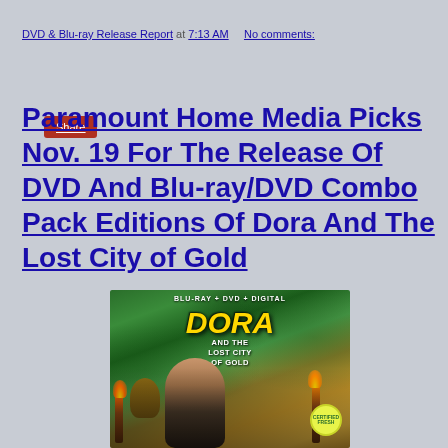DVD & Blu-ray Release Report at 7:13 AM   No comments:
Share
Paramount Home Media Picks Nov. 19 For The Release Of DVD And Blu-ray/DVD Combo Pack Editions Of Dora And The Lost City of Gold
[Figure (photo): Blu-ray + DVD + Digital combo pack cover art for Dora and the Lost City of Gold, showing Dora and jungle characters with torches, featuring a Certified Fresh badge]